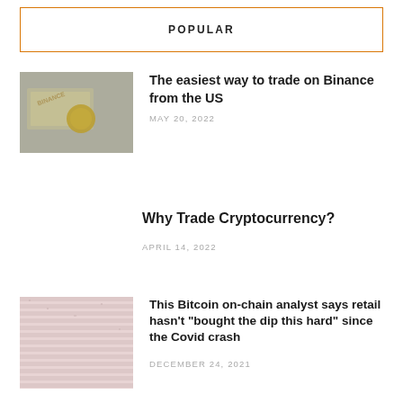POPULAR
[Figure (photo): Binance branded image with dollar bills and coin]
The easiest way to trade on Binance from the US
MAY 20, 2022
Why Trade Cryptocurrency?
APRIL 14, 2022
[Figure (photo): Pink textured background image related to Bitcoin]
This Bitcoin on-chain analyst says retail hasn’t “bought the dip this hard” since the Covid crash
DECEMBER 24, 2021